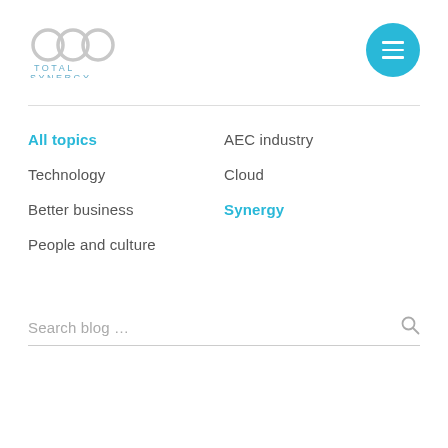[Figure (logo): Total Synergy logo with three interlocking rings and text TOTAL SYNERGY below]
[Figure (other): Hamburger menu button (three horizontal lines) in a cyan circle]
All topics
Technology
Better business
People and culture
AEC industry
Cloud
Synergy
Search blog …